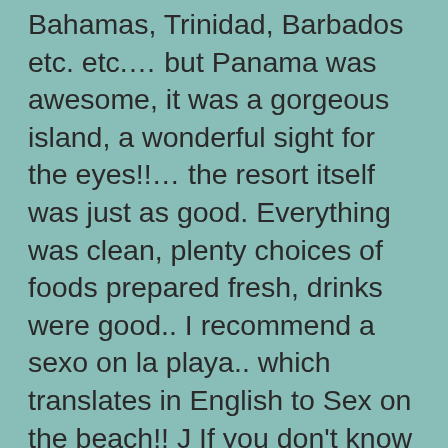Bahamas, Trinidad, Barbados etc. etc.… but Panama was awesome, it was a gorgeous island, a wonderful sight for the eyes!!… the resort itself was just as good. Everything was clean, plenty choices of foods prepared fresh, drinks were good.. I recommend a sexo on la playa.. which translates in English to Sex on the beach!! J If you don't know Spanish you might want to get a little tourist hand book to carry with you just in case… I personally know muy poco.. which is very little.. I took Spanish last year in school, im only 17 years old btw.… Many locals visit and stay at the resort itself, so they mostly speak Spanish there and few of